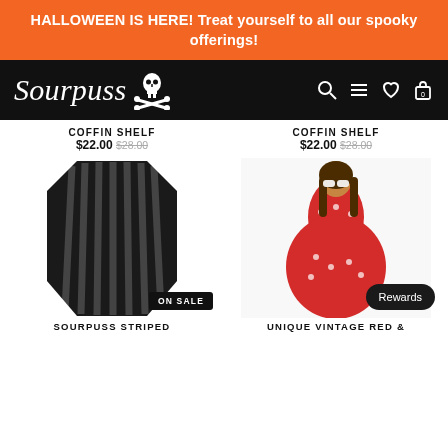HALLOWEEN IS HERE! Treat yourself to all our spooky offerings!
[Figure (logo): Sourpuss Clothing logo with skull and crossbones, white text on black navbar with search, menu, heart, and cart icons]
COFFIN SHELF $22.00 $28.00
COFFIN SHELF $22.00 $28.00
[Figure (photo): Black coffin-shaped shelf with vertical stripes, ON SALE badge]
[Figure (photo): Woman in red polka dot off-shoulder dress, Rewards button overlay]
SOURPUSS STRIPED
UNIQUE VINTAGE RED &